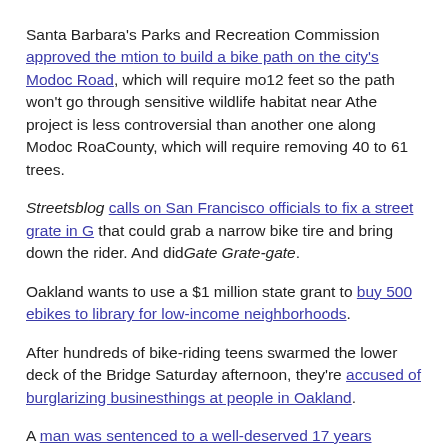Santa Barbara's Parks and Recreation Commission approved the motion to build a bike path on the city's Modoc Road, which will require mo… 12 feet so the path won't go through sensitive wildlife habitat near A… the project is less controversial than another one along Modoc Roa… County, which will require removing 40 to 61 trees.
Streetsblog calls on San Francisco officials to fix a street grate in G… that could grab a narrow bike tire and bring down the rider. And did… Gate Grate-gate.
Oakland wants to use a $1 million state grant to buy 500 ebikes to library for low-income neighborhoods.
After hundreds of bike-riding teens swarmed the lower deck of the Bridge Saturday afternoon, they're accused of burglarizing business things at people in Oakland.
A man was sentenced to a well-deserved 17 years behind bars for woman on a Davis bike path.